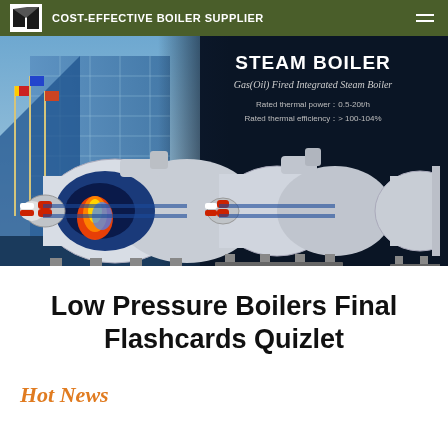COST-EFFECTIVE BOILER SUPPLIER
[Figure (photo): Banner image showing steam boilers (Gas(Oil) Fired Integrated Steam Boiler) against a dark background with a building scene on the left. Text overlay: STEAM BOILER, Gas(Oil) Fired Integrated Steam Boiler, Rated thermal power: 0.5-20t/h, Rated thermal efficiency: > 100-104%]
Low Pressure Boilers Final Flashcards Quizlet
Hot News